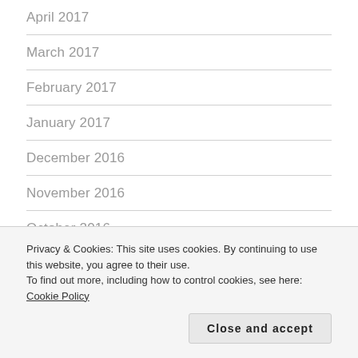April 2017
March 2017
February 2017
January 2017
December 2016
November 2016
October 2016
September 2016
August 2016
Privacy & Cookies: This site uses cookies. By continuing to use this website, you agree to their use.
To find out more, including how to control cookies, see here: Cookie Policy